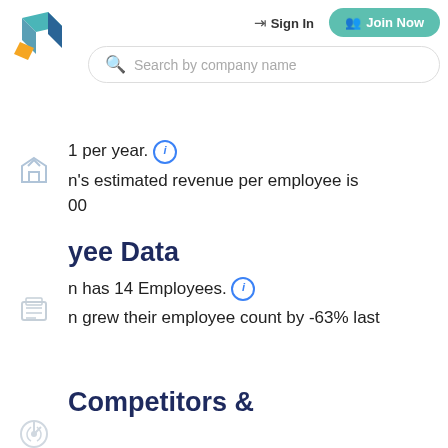[Figure (logo): Company logo with teal/blue 3D cube shape and orange accent]
Sign In
Join Now
Search by company name
1 per year. (i)
n's estimated revenue per employee is 00
yee Data
n has 14 Employees. (i)
n grew their employee count by -63% last
Competitors &